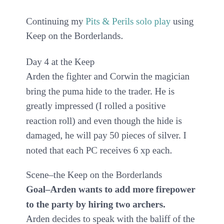Continuing my Pits & Perils solo play using Keep on the Borderlands.
Day 4 at the Keep
Arden the fighter and Corwin the magician bring the puma hide to the trader. He is greatly impressed (I rolled a positive reaction roll) and even though the hide is damaged, he will pay 50 pieces of silver. I noted that each PC receives 6 xp each.
Scene–the Keep on the Borderlands
Goal–Arden wants to add more firepower to the party by hiring two archers.
Arden decides to speak with the baliff of the outer bailey first.